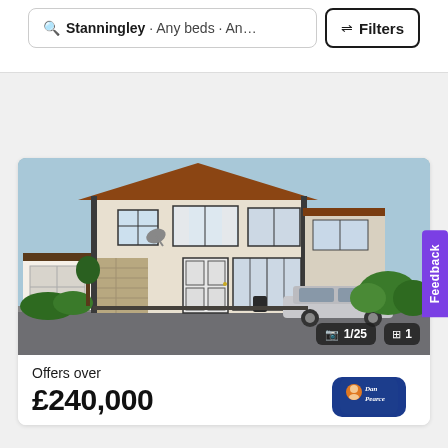[Figure (screenshot): Search bar showing 'Stanningley · Any beds · An...' with a Filters button on the right]
[Figure (photo): Exterior photo of a semi-detached house in Stanningley with rendered stone facade, white windows, front garden, parked car, and garage. Shows image count badge '1/25' and floorplan badge '1'.]
Offers over
£240,000